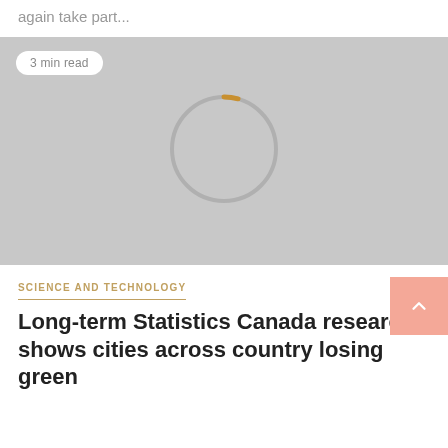again take part...
[Figure (photo): Gray placeholder image with a loading spinner (gray circle with a small golden/orange arc segment at the top) and a '3 min read' pill badge in the upper left corner.]
SCIENCE AND TECHNOLOGY
Long-term Statistics Canada research shows cities across country losing green